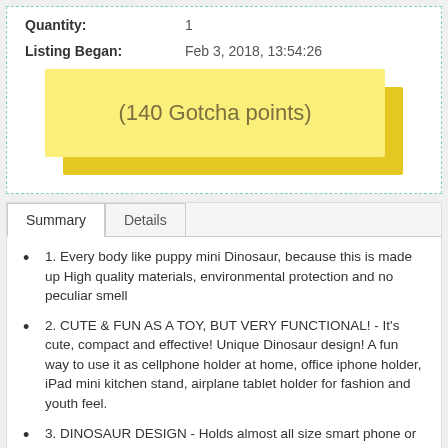Quantity: 1
Listing Began: Feb 3, 2018, 13:54:26
(140 Gotcha points)
Summary | Details
1. Every body like puppy mini Dinosaur, because this is made up High quality materials, environmental protection and no peculiar smell
2. CUTE & FUN AS A TOY, BUT VERY FUNCTIONAL! - It's cute, compact and effective! Unique Dinosaur design! A fun way to use it as cellphone holder at home, office iphone holder, iPad mini kitchen stand, airplane tablet holder for fashion and youth feel.
3. DINOSAUR DESIGN - Holds almost all size smart phone or tablet,